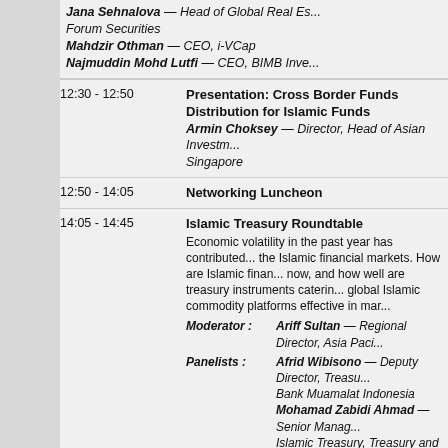Jana Sehnalova — Head of Global Real Es... Forum Securities
Mahdzir Othman — CEO, i-VCap
Najmuddin Mohd Lutfi — CEO, BIMB Inve...
12:30 - 12:50
Presentation: Cross Border Funds Distribution for Islamic Funds
Armin Choksey — Director, Head of Asian Investm... Singapore
12:50 - 14:05
Networking Luncheon
14:05 - 14:45
Islamic Treasury Roundtable
Economic volatility in the past year has contributed... the Islamic financial markets. How are Islamic finan... now, and how well are treasury instruments caterin... global Islamic commodity platforms effective in mar...
Moderator: Ariff Sultan — Regional Director, Asia Paci...
Panelists: Afrid Wibisono — Deputy Director, Treasu... Bank Muamalat Indonesia
Mohamad Zabidi Ahmad — Senior Manag... Islamic Treasury, Treasury and Markets, Gro... CIMB Group
Suzaizi Mohd Morshid — Head of Treasury... Malaysia
14:45 - 15:35
Riding the Fintech Wave: How are Alternative F... Performing in Asia?
What is driving the growth of these platforms?
What Shariah principles are companies like Bee... and Club Ethis basing their products on?
Is there potential for secondary market creation...